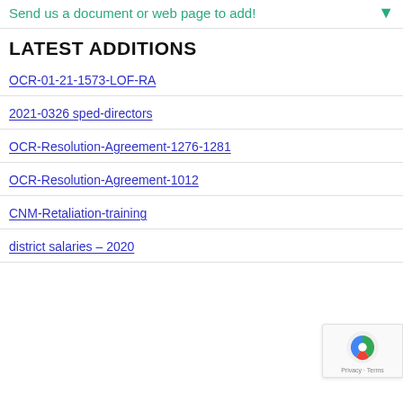Send us a document or web page to add!
LATEST ADDITIONS
OCR-01-21-1573-LOF-RA
2021-0326 sped-directors
OCR-Resolution-Agreement-1276-1281
OCR-Resolution-Agreement-1012
CNM-Retaliation-training
district salaries – 2020